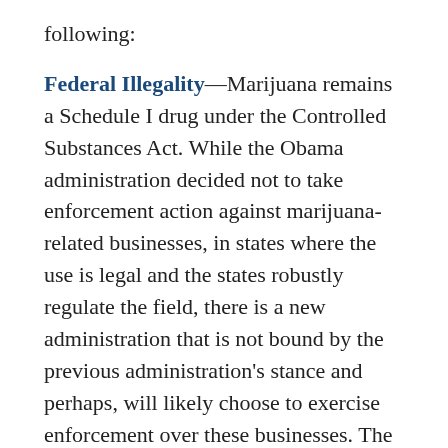following:
Federal Illegality—Marijuana remains a Schedule I drug under the Controlled Substances Act. While the Obama administration decided not to take enforcement action against marijuana-related businesses, in states where the use is legal and the states robustly regulate the field, there is a new administration that is not bound by the previous administration's stance and perhaps, will likely choose to exercise enforcement over these businesses. The fact that marijuana remains federally illegal and the uncertainty of President-Elect Trump's administration's position with respect to enforcement must be considered. That window of consideration will probably close fairly soon after Senator Sessions is confirmed by his colleagues in the Senate. At that point, it's quite